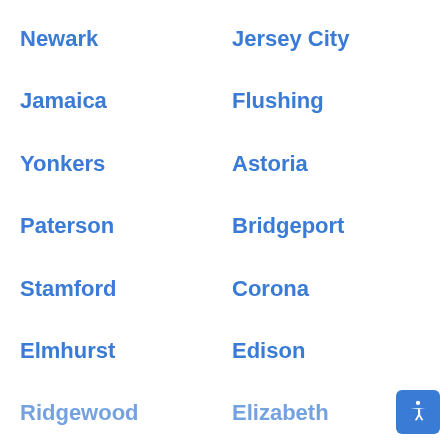Newark
Jersey City
Jamaica
Flushing
Yonkers
Astoria
Paterson
Bridgeport
Stamford
Corona
Elmhurst
Edison
Ridgewood
Elizabeth